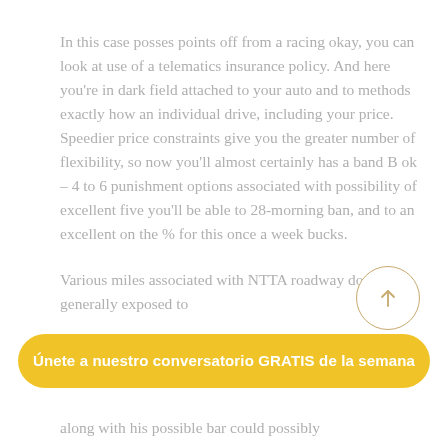In this case posses points off from a racing okay, you can look at use of a telematics insurance policy. And here you're in dark field attached to your auto and to methods exactly how an individual drive, including your price. Speedier price constraints give you the greater number of flexibility, so now you'll almost certainly has a band B ok – 4 to 6 punishment options associated with possibility of excellent five you'll be able to 28-morning ban, and to an excellent on the % for this once a week bucks.
Various miles associated with NTTA roadway don't are generally exposed to
along with his possible bar could possibly